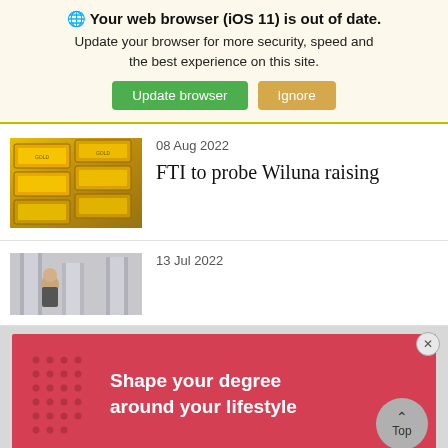Your web browser (iOS 11) is out of date. Update your browser for more security, speed and the best experience on this site.
08 Aug 2022
[Figure (photo): Stack of gold bars/bullion photographed from above]
FTI to probe Wiluna raising
13 Jul 2022
[Figure (photo): Partial image of a person with tall buildings/columns in background]
[Figure (infographic): Red advertisement banner reading 'Shape your degree around your lifestyle' with dot pattern decoration]